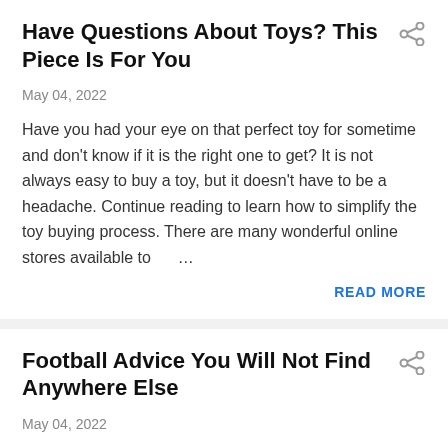Have Questions About Toys? This Piece Is For You
May 04, 2022
Have you had your eye on that perfect toy for sometime and don't know if it is the right one to get? It is not always easy to buy a toy, but it doesn't have to be a headache. Continue reading to learn how to simplify the toy buying process. There are many wonderful online stores available to …
READ MORE
Football Advice You Will Not Find Anywhere Else
May 04, 2022
A lot of people want to be great football players. Watching